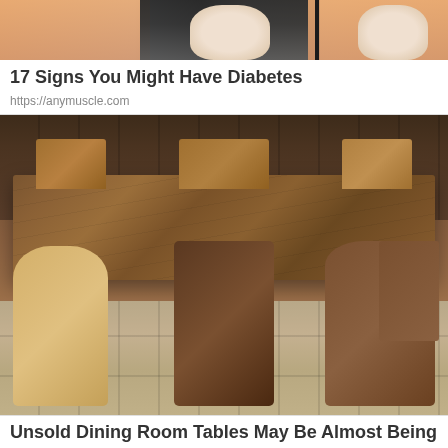[Figure (photo): Partial photo showing three people cropped at torso level with colorful clothing]
17 Signs You Might Have Diabetes
https://anymuscle.com
[Figure (photo): Photo of a large rustic wooden dining table surrounded by mismatched wooden chairs on a stone tile floor, with a dark wood-paneled wall in the background]
Unsold Dining Room Tables May Be Almost Being